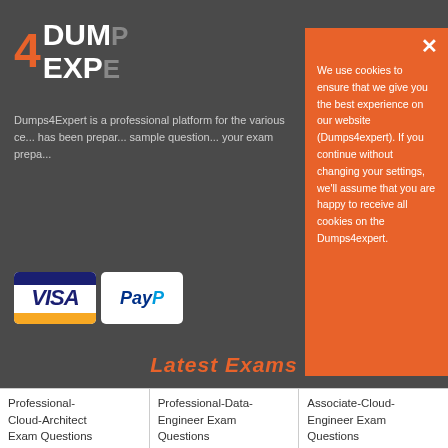[Figure (screenshot): Dumps4Expert website screenshot with cookie consent overlay. Background is dark gray with logo showing '4 DUMPS EXPERT' in orange and white. Sidebar text describes the site purpose. Payment icons for VISA and PayPal visible. Orange cookie consent modal overlays the right side. Bottom shows 'Latest Exams' header and a grid of exam cards.]
We use cookies to ensure that we give you the best experience on our website (Dumps4expert). If you continue without changing your settings, we'll assume that you are happy to receive all cookies on the Dumps4expert.
Latest Exams
| Professional-Cloud-Architect Exam Questions | Professional-Data-Engineer Exam Questions | Associate-Cloud-Engineer Exam Questions |
| AZ-900 Exam | MB-210 Exam | AZ-400 Exam |